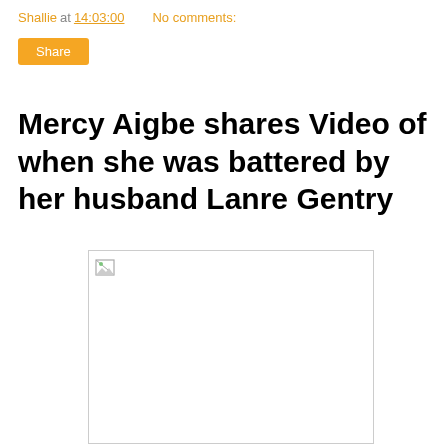Shallie at 14:03:00    No comments:
Share
Mercy Aigbe shares Video of when she was battered by her husband Lanre Gentry
[Figure (photo): Broken image placeholder — image failed to load, showing a small broken image icon in top-left of a white rectangle with a thin border]